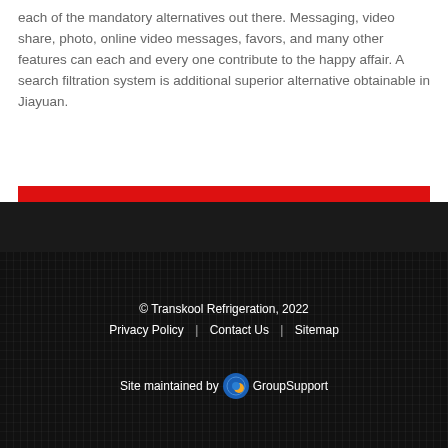each of the mandatory alternatives out there. Messaging, video share, photo, online video messages, favors, and many other features can each and every one contribute to the happy affair. A search filtration system is additional superior alternative obtainable in Jiayuan.
© Transkool Refrigeration, 2022
Privacy Policy | Contact Us | Sitemap
Site maintained by GroupSupport